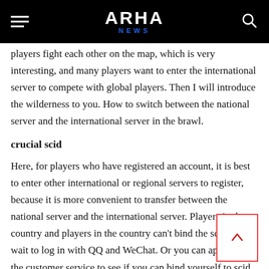ARHA NEWS
players fight each other on the map, which is very interesting, and many players want to enter the international server to compete with global players. Then I will introduce the wilderness to you. How to switch between the national server and the international server in the brawl.
crucial scid
Here, for players who have registered an account, it is best to enter other international or regional servers to register, because it is more convenient to transfer between the national server and the international server. Players in the country and players in the country can't bind the scid, so just wait to log in with QQ and WeChat. Or you can appeal to the customer service to see if you can bind yourself to scid (probably impossible).
Android and Apple players
For Android players, it is best to put your registration information on